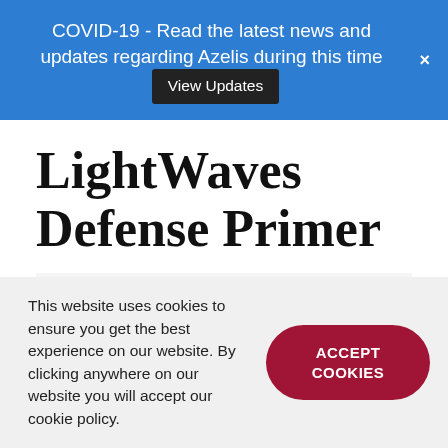COVID-19 - Read the latest news and updates regarding Azelis during this time View Updates
LightWaves Defense Primer
| Sequence | Trade Name | INCI Name | % |
| --- | --- | --- | --- |
| A |  | Water/Aqua | 63.9 |
This website uses cookies to ensure you get the best experience on our website. By clicking anywhere on our website you will accept our cookie policy.